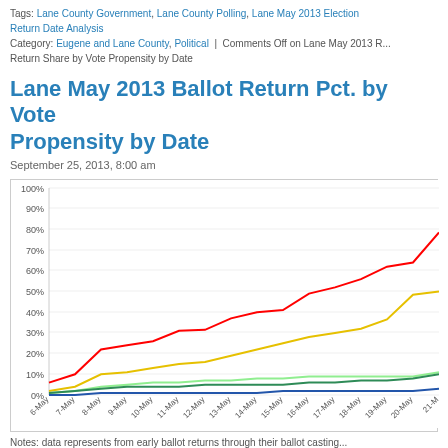Tags: Lane County Government, Lane County Polling, Lane May 2013 Election Return Date Analysis
Category: Eugene and Lane County, Political | Comments Off on Lane May 2013 Return Share by Vote Propensity by Date
Lane May 2013 Ballot Return Pct. by Vote Propensity by Date
September 25, 2013, 8:00 am
[Figure (line-chart): Lane May 2013 Ballot Return Pct. by Vote Propensity by Date]
Notes: data represents from early ballot returns through their ballot casting...